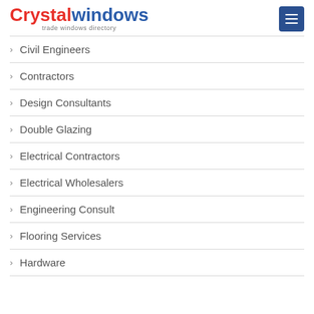[Figure (logo): Crystal Windows logo with red 'Crystal' and blue 'windows' text, tagline 'trade windows directory', and a dark blue menu button with hamburger icon]
Civil Engineers
Contractors
Design Consultants
Double Glazing
Electrical Contractors
Electrical Wholesalers
Engineering Consult
Flooring Services
Hardware